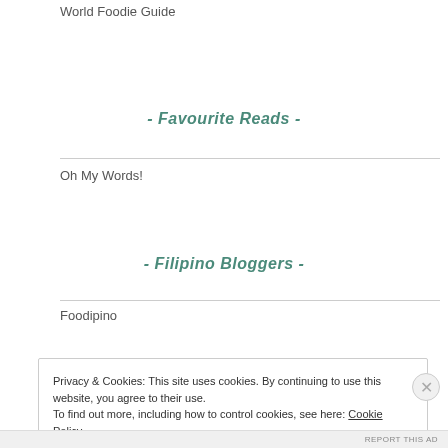World Foodie Guide
- Favourite Reads -
Oh My Words!
- Filipino Bloggers -
Foodipino
Privacy & Cookies: This site uses cookies. By continuing to use this website, you agree to their use.
To find out more, including how to control cookies, see here: Cookie Policy
Close and accept
REPORT THIS AD